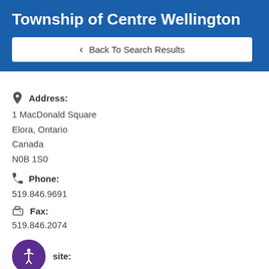Township of Centre Wellington
Back To Search Results
Address:
1 MacDonald Square
Elora, Ontario
Canada
N0B 1S0
Phone:
519.846.9691
Fax:
519.846.2074
Website:
http://www.centrewellington.ca